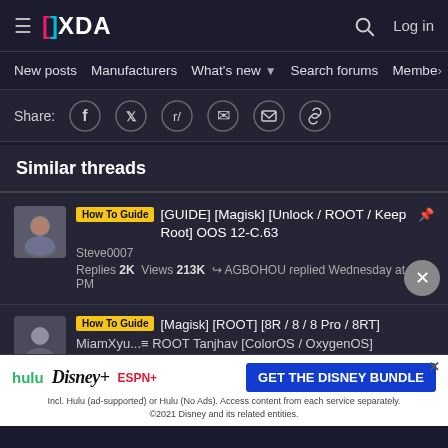XDA Developers — Log in
New posts | Manufacturers | What's new | Search forums | Members
Share:
Similar threads
How To Guide | [GUIDE] [Magisk] [Unlock / ROOT / Keep Root] OOS 12-C.63 | Steve0007 | Replies 2K Views 213K — AGBOHOU replied Wednesday at 8:44 PM
How To Guide | [Magisk] [ROOT] [8R / 8 / 8 Pro / 8RT] | MiamXyu... ROOT Tanjhav [ColorOS / OxygenOS]
[Figure (screenshot): Disney Bundle advertisement banner: hulu, Disney+, ESPN+ logos with 'GET THE DISNEY BUNDLE' button]